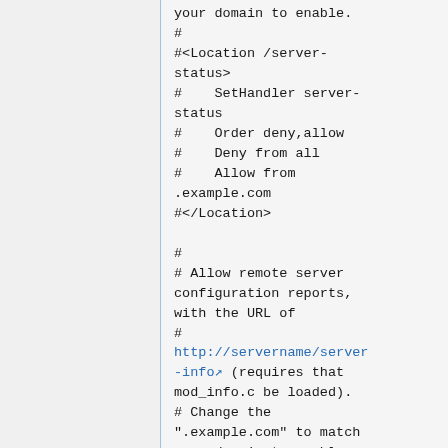your domain to enable.
#
#<Location /server-status>
#    SetHandler server-status
#    Order deny,allow
#    Deny from all
#    Allow from .example.com
#</Location>

#
# Allow remote server configuration reports, with the URL of
#
http://servername/server-info (requires that mod_info.c be loaded).
# Change the ".example.com" to match your domain to enable